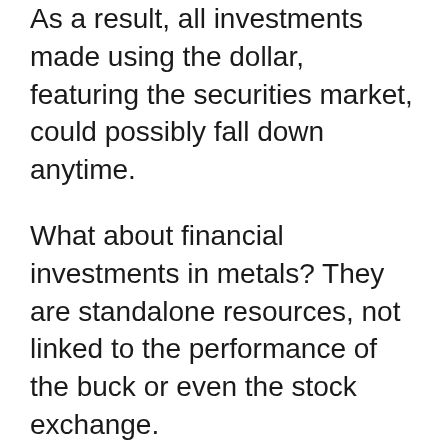As a result, all investments made using the dollar, featuring the securities market, could possibly fall down anytime.
What about financial investments in metals? They are standalone resources, not linked to the performance of the buck or even the stock exchange.
Their self-reliance is actually why the gold and silvers market does greatest when the securities market is at its own most affordable.
There are all the best reasons you should transform component of your financial investment funds towards precious metals.